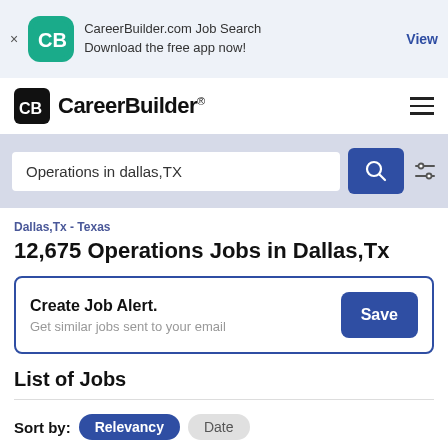[Figure (screenshot): App banner with CareerBuilder logo, 'CareerBuilder.com Job Search Download the free app now!' text, and a 'View' link]
[Figure (logo): CareerBuilder logo with CB icon and brand name]
Operations in dallas,TX
Dallas,Tx - Texas
12,675 Operations Jobs in Dallas,Tx
Create Job Alert.
Get similar jobs sent to your email
List of Jobs
Sort by: Relevancy  Date